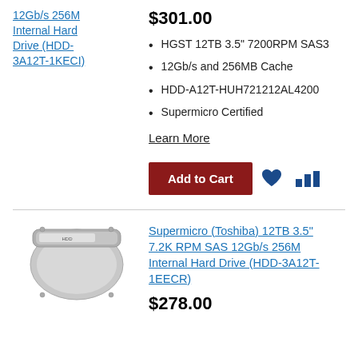12Gb/s 256M Internal Hard Drive (HDD-3A12T-1KECI)
$301.00
HGST 12TB 3.5" 7200RPM SAS3
12Gb/s and 256MB Cache
HDD-A12T-HUH721212AL4200
Supermicro Certified
Learn More
Add to Cart
[Figure (photo): Hard disk drive product image]
Supermicro (Toshiba) 12TB 3.5" 7.2K RPM SAS 12Gb/s 256M Internal Hard Drive (HDD-3A12T-1EECR)
$278.00